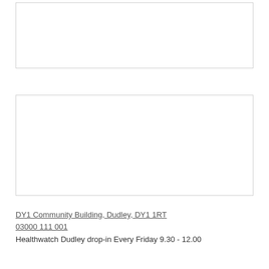[Figure (other): Empty white box with light grey border, upper region]
[Figure (other): Empty white box with light grey border, middle region]
DY1 Community Building, Dudley, DY1 1RT
03000 111 001
Healthwatch Dudley drop-in Every Friday 9.30 - 12.00